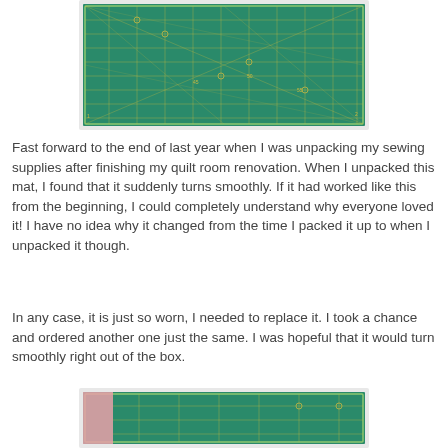[Figure (photo): A green self-healing rotating cutting mat with yellow grid lines and measurement markings, viewed at an angle from above.]
Fast forward to the end of last year when I was unpacking my sewing supplies after finishing my quilt room renovation.  When I unpacked this mat,  I found that it suddenly turns smoothly.  If it had worked like this from the beginning, I could completely understand why everyone loved it!  I have no idea why it changed from the time I packed it up to when I unpacked it though.
In any case, it is just so worn, I needed to replace it.  I took a chance and ordered another one just the same.  I was hopeful that it would turn smoothly right out of the box.
[Figure (photo): A green self-healing rotating cutting mat with yellow grid lines, partially visible, with a pink fabric corner visible on the left side.]